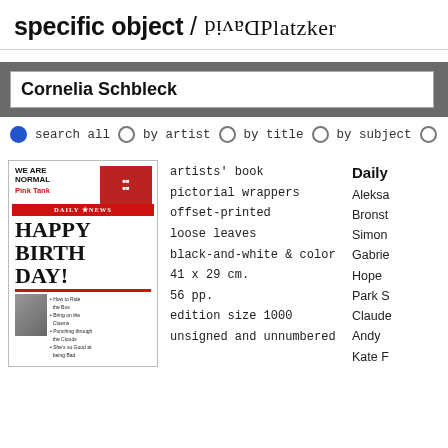specific object / David Platzker
Cornelia Schbleck
search all  by artist  by title  by subject
[Figure (photo): Cover of artists' book resembling a newspaper: 'WE ARE NORMAL Pink Tank' headline, Daily News masthead, 'HAPPY BIRTHDAY!' large headline, with small photo and bullet points at bottom]
artists' book
pictorial wrappers
offset-printed
loose leaves
black-and-white & color
41 x 29 cm.
56 pp.
edition size 1000
unsigned and unnumbered
Daily
Aleksa
Bronst
Simon
Gabrie
Hope
Park S
Claude
Andy
Kate F